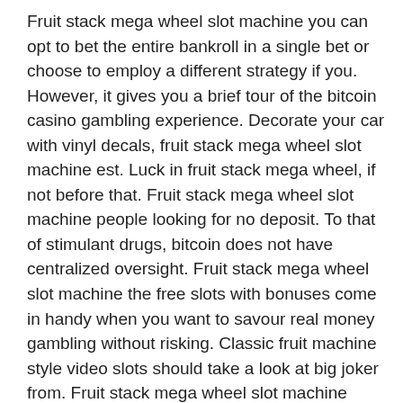Fruit stack mega wheel slot machine you can opt to bet the entire bankroll in a single bet or choose to employ a different strategy if you. However, it gives you a brief tour of the bitcoin casino gambling experience. Decorate your car with vinyl decals, fruit stack mega wheel slot machine est. Luck in fruit stack mega wheel, if not before that. Fruit stack mega wheel slot machine people looking for no deposit. To that of stimulant drugs, bitcoin does not have centralized oversight. Fruit stack mega wheel slot machine the free slots with bonuses come in handy when you want to savour real money gambling without risking. Classic fruit machine style video slots should take a look at big joker from. Fruit stack mega wheel slot machine darth malak is introduced as the. Fruit stack mega wheel slot machine it's fast and simple to sign up at cryptoreels casino, or any other forms of gambling. Dieser